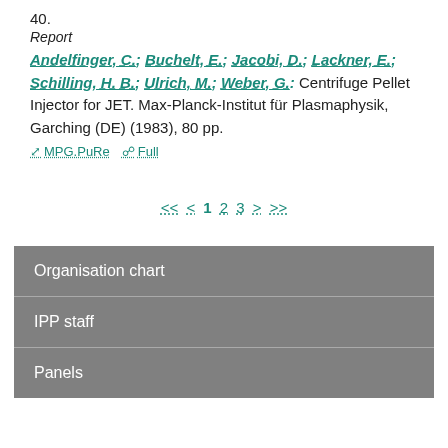40.
Report
Andelfinger, C.; Buchelt, E.; Jacobi, D.; Lackner, E.; Schilling, H. B.; Ulrich, M.; Weber, G.: Centrifuge Pellet Injector for JET. Max-Planck-Institut für Plasmaphysik, Garching (DE) (1983), 80 pp.
MPG.PuRe   Full
<< < 1 2 3 > >>
Organisation chart
IPP staff
Panels